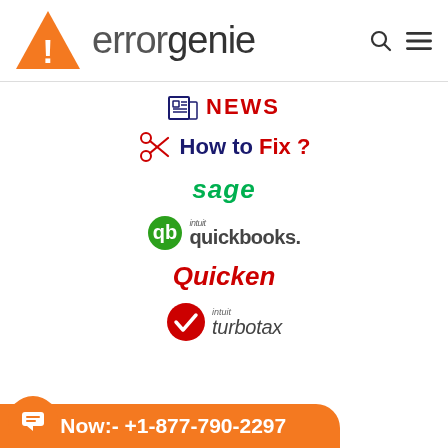[Figure (logo): ErrorGenie logo with orange warning triangle and text 'errorgenie']
NEWS
How to Fix?
sage
intuit quickbooks.
Quicken
intuit turbotax
Call Now:- +1-877-790-2297